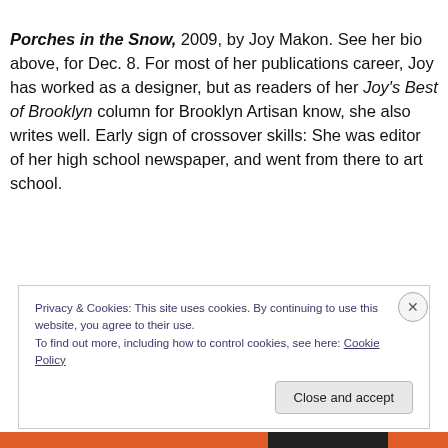Porches in the Snow, 2009, by Joy Makon. See her bio above, for Dec. 8. For most of her publications career, Joy has worked as a designer, but as readers of her Joy's Best of Brooklyn column for Brooklyn Artisan know, she also writes well. Early sign of crossover skills: She was editor of her high school newspaper, and went from there to art school.
Privacy & Cookies: This site uses cookies. By continuing to use this website, you agree to their use. To find out more, including how to control cookies, see here: Cookie Policy
Close and accept